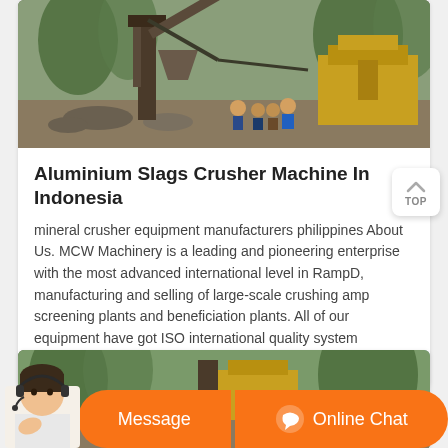[Figure (photo): Industrial mining/crushing machinery site with workers sitting near large equipment and structures]
Aluminium Slags Crusher Machine In Indonesia
mineral crusher equipment manufacturers philippines About Us. MCW Machinery is a leading and pioneering enterprise with the most advanced international level in RampD, manufacturing and selling of large-scale crushing amp screening plants and beneficiation plants. All of our equipment have got ISO international quality system certification ...
[Figure (photo): Second article image showing outdoor industrial/natural scene]